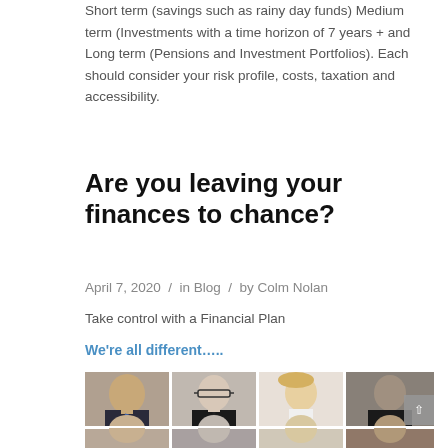Short term (savings such as rainy day funds) Medium term (Investments with a time horizon of 7 years + and Long term (Pensions and Investment Portfolios). Each should consider your risk profile, costs, taxation and accessibility.
Are you leaving your finances to chance?
April 7, 2020 / in Blog / by Colm Nolan
Take control with a Financial Plan
We're all different…..
[Figure (photo): Grid of portrait photos showing diverse people (men and women) in professional attire, arranged in two rows of four]